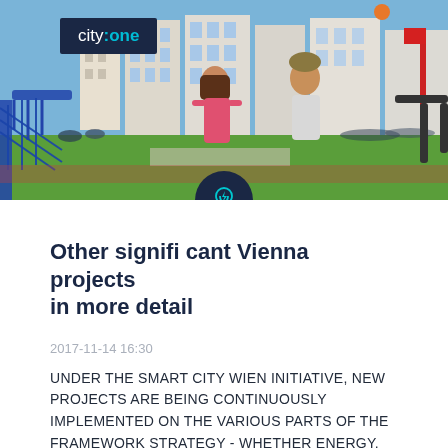[Figure (photo): Outdoor urban scene showing children on playground equipment, green lawn, modern apartment buildings in background, crowd of people, sunny day. city:one logo overlay in top left corner.]
Other significant Vienna projects in more detail
2017-11-14 16:30
UNDER THE SMART CITY WIEN INITIATIVE, NEW PROJECTS ARE BEING CONTINUOUSLY IMPLEMENTED ON THE VARIOUS PARTS OF THE FRAMEWORK STRATEGY - WHETHER ENERGY, MOBILITY OR SOCIAL ISSUES. HERE